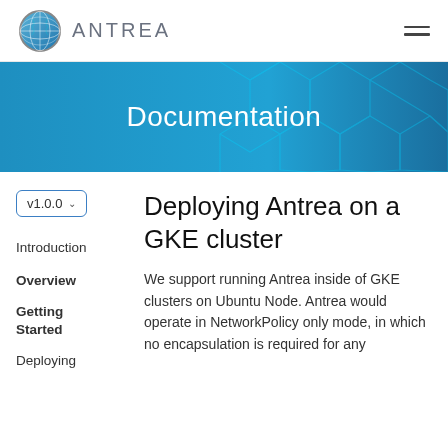ANTREA
[Figure (illustration): Antrea documentation hero banner with teal network pattern background and 'Documentation' title text in white]
Deploying Antrea on a GKE cluster
v1.0.0
Introduction
Overview
Getting Started
Deploying
We support running Antrea inside of GKE clusters on Ubuntu Node. Antrea would operate in NetworkPolicy only mode, in which no encapsulation is required for any